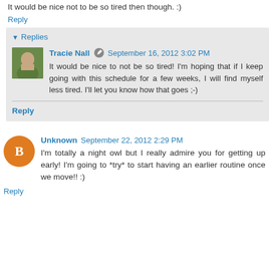It would be nice not to be so tired then though. :)
Reply
Replies
Tracie Nall  September 16, 2012 3:02 PM
It would be nice to not be so tired! I'm hoping that if I keep going with this schedule for a few weeks, I will find myself less tired. I'll let you know how that goes ;-)
Reply
Unknown  September 22, 2012 2:29 PM
I'm totally a night owl but I really admire you for getting up early! I'm going to *try* to start having an earlier routine once we move!! :)
Reply